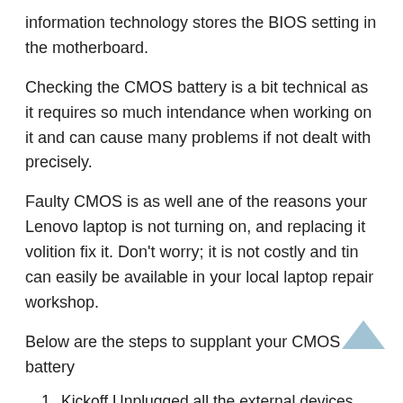information technology stores the BIOS setting in the motherboard.
Checking the CMOS battery is a bit technical as it requires so much intendance when working on it and can cause many problems if not dealt with precisely.
Faulty CMOS is as well ane of the reasons your Lenovo laptop is not turning on, and replacing it volition fix it. Don't worry; it is not costly and tin can easily be available in your local laptop repair workshop.
Below are the steps to supplant your CMOS battery
Kickoff Unplugged all the external devices and any ability source bombardment and Air-conditioning adaptor.
Remove the instance of the laptop and follow this